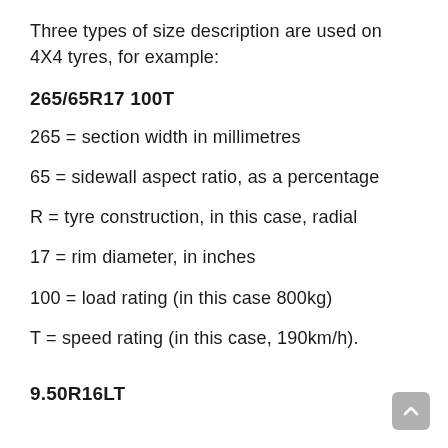Three types of size description are used on 4X4 tyres, for example:
265/65R17 100T
265 = section width in millimetres
65 = sidewall aspect ratio, as a percentage
R = tyre construction, in this case, radial
17 = rim diameter, in inches
100 = load rating (in this case 800kg)
T = speed rating (in this case, 190km/h).
9.50R16LT